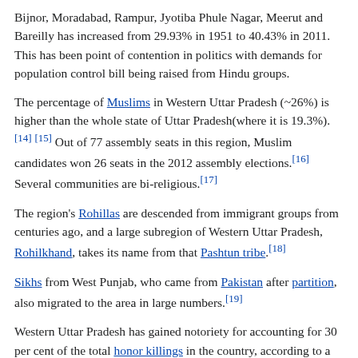Bijnor, Moradabad, Rampur, Jyotiba Phule Nagar, Meerut and Bareilly has increased from 29.93% in 1951 to 40.43% in 2011. This has been point of contention in politics with demands for population control bill being raised from Hindu groups.
The percentage of Muslims in Western Uttar Pradesh (~26%) is higher than the whole state of Uttar Pradesh(where it is 19.3%).[14][15] Out of 77 assembly seats in this region, Muslim candidates won 26 seats in the 2012 assembly elections.[16] Several communities are bi-religious.[17]
The region's Rohillas are descended from immigrant groups from centuries ago, and a large subregion of Western Uttar Pradesh, Rohilkhand, takes its name from that Pashtun tribe.[18]
Sikhs from West Punjab, who came from Pakistan after partition, also migrated to the area in large numbers.[19]
Western Uttar Pradesh has gained notoriety for accounting for 30 per cent of the total honor killings in the country, according to a survey done by AIDWA.[20]
Geography